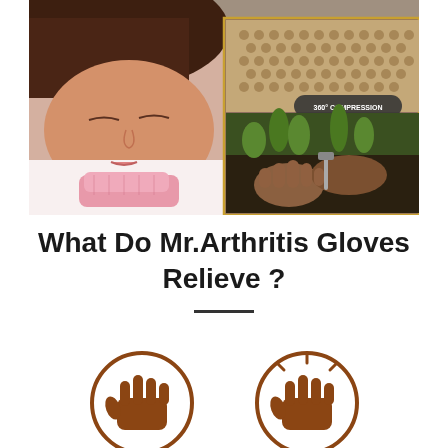[Figure (photo): Collage of photos showing arthritis gloves in use: a woman sleeping wearing pink compression gloves, a close-up of compression glove texture material with a '360° COMPRESSION TECH' label, and hands gardening wearing compression gloves]
What Do Mr.Arthritis Gloves Relieve ?
[Figure (illustration): Two circular brown icon illustrations of hands, representing relief from arthritis conditions]